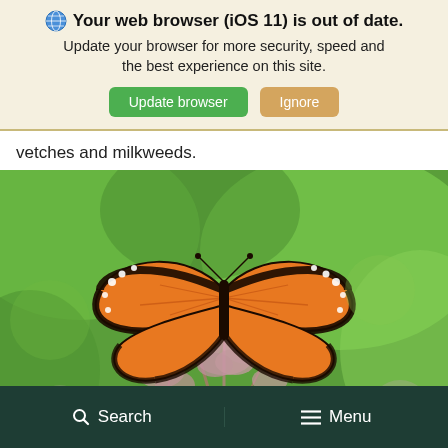🌐 Your web browser (iOS 11) is out of date. Update your browser for more security, speed and the best experience on this site. [Update browser] [Ignore]
vetches and milkweeds.
[Figure (photo): A monarch butterfly with open orange and black wings, resting on pink wildflowers (milkweed) with a blurred green background.]
🔍 Search   ☰ Menu